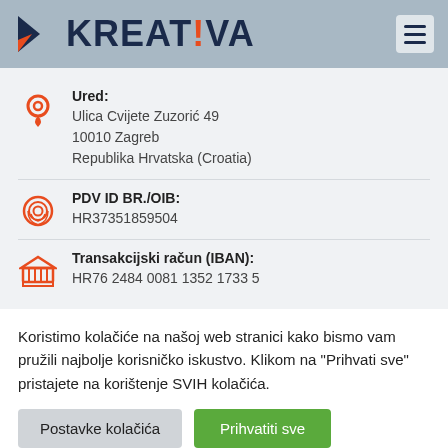[Figure (logo): Kreativa logo with geometric arrow/triangle icon in navy and orange, and KREAT!VA wordmark in navy with orange exclamation mark]
Ured:
Ulica Cvijete Zuzorić 49
10010 Zagreb
Republika Hrvatska (Croatia)
PDV ID BR./OIB:
HR37351859504
Transakcijski račun (IBAN):
HR76 2484 0081 1352 1733 5
Koristimo kolačiće na našoj web stranici kako bismo vam pružili najbolje korisničko iskustvo. Klikom na "Prihvati sve" pristajete na korištenje SVIH kolačića.